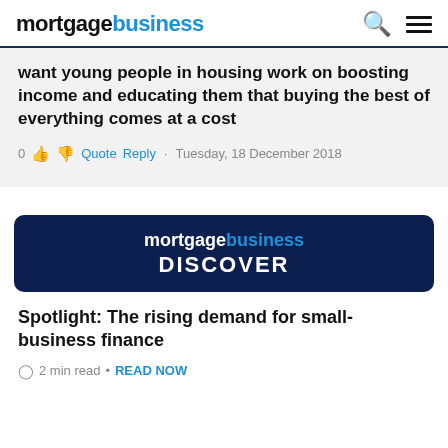mortgagebusiness
want young people in housing work on boosting income and educating them that buying the best of everything comes at a cost
0  Quote  Reply  ·  Tuesday, 18 December 2018
[Figure (logo): mortgagebusiness DISCOVER banner with dark navy background]
Spotlight: The rising demand for small-business finance
2 min read • READ NOW